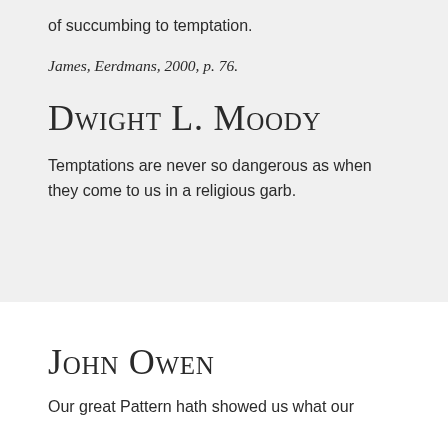of succumbing to temptation.
James, Eerdmans, 2000, p. 76.
Dwight L. Moody
Temptations are never so dangerous as when they come to us in a religious garb.
John Owen
Our great Pattern hath showed us what our